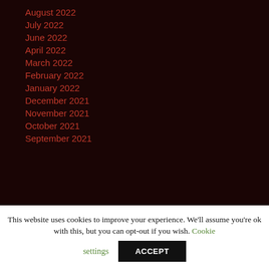August 2022
July 2022
June 2022
April 2022
March 2022
February 2022
January 2022
December 2021
November 2021
October 2021
September 2021
This website uses cookies to improve your experience. We'll assume you're ok with this, but you can opt-out if you wish. Cookie settings ACCEPT